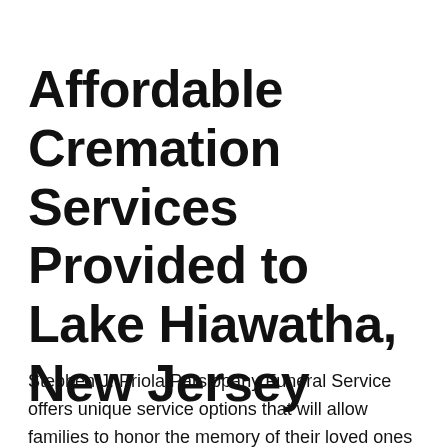Affordable Cremation Services Provided to Lake Hiawatha, New Jersey
Stephen J. Priola Parsippany Funeral Service offers unique service options that will allow families to honor the memory of their loved ones in a healing